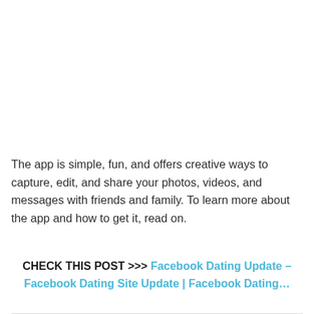The app is simple, fun, and offers creative ways to capture, edit, and share your photos, videos, and messages with friends and family. To learn more about the app and how to get it, read on.
CHECK THIS POST >>> Facebook Dating Update – Facebook Dating Site Update | Facebook Dating...